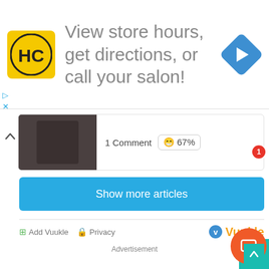[Figure (screenshot): Advertisement banner for HC (Hair Club) with yellow logo, text 'View store hours, get directions, or call your salon!' and a blue navigation arrow icon on the right]
1 Comment 😁 67%
Show more articles
⊞ Add Vuukle 🔒 Privacy
🅥 Vuukle
Advertisement